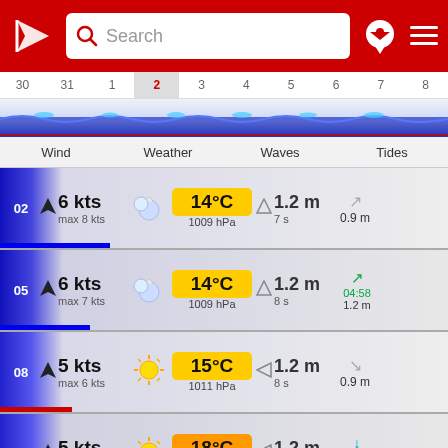Weather app header with search bar
[Figure (screenshot): Date strip showing days 30, 31, 1, 2 (active/selected), 3, 4, 5, 6, 7, 8 with wave visualization below]
Wind  Weather  Waves  Tides
| Time | Wind | Weather | Temp | Pressure | Waves | Period | Tides |
| --- | --- | --- | --- | --- | --- | --- | --- |
| 02 | 6 kts max 8 kts | partly cloudy night | 14°C | 1009 hPa | 1.2 m | 7 s | 0.9 m |
| 05 | 6 kts max 7 kts | partly cloudy night | 14°C | 1009 hPa | 1.2 m | 8 s | 04:58 1.2 m |
| 08 | 5 kts max 6 kts | sunny | 15°C | 1011 hPa | 1.2 m | 8 s | 0.9 m |
| 11 | 5 kts max 7 kts | sunny | 18°C | 1011 hPa | 1.2 m | 8 s | 09:54 0.7 m |
| 14 | 8 kts | sunny | 20°C |  | 1.3 m |  |  |